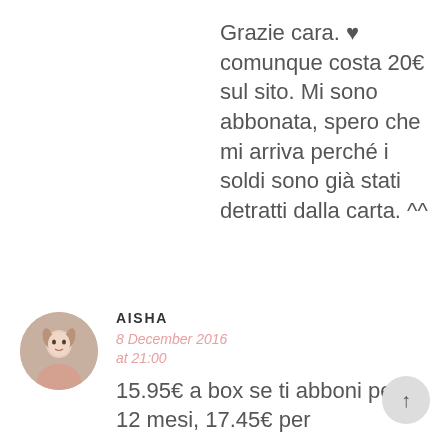Grazie cara. ♥ comunque costa 20€ sul sito. Mi sono abbonata, spero che mi arriva perché i soldi sono già stati detratti dalla carta. ^^
AISHA
8 December 2016 at 21:00
15.95€ a box se ti abboni per 12 mesi, 17.45€ per